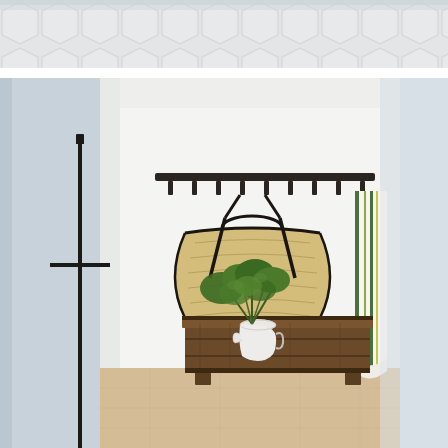[Figure (photo): Close-up top portion of a hexagonal white tile floor or wall, light grey grout lines visible, with a slightly blurred background.]
[Figure (photo): Interior home scene showing a nook or entryway with white walls and light wood floor. A dark metal horizontal rack with hooks is mounted on the white wall, from which hangs a large woven straw market basket with black leather handles and a striped woven textile/towel with green and yellow stripes. Below the rack sits a rustic brown wooden chest or dresser with three drawers on small feet, with a white ceramic pitcher holding fresh green leafy branches on top. On the left side of the frame, a slender black metal candlestick or floor lamp with a cross-shaped horizontal bar is partially visible against a light blue-grey wall panel.]